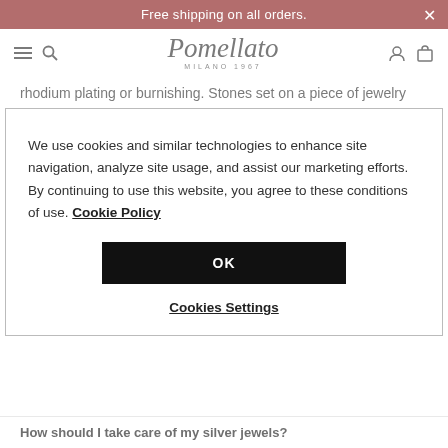Free shipping on all orders.
[Figure (logo): Pomellato Milano 1967 script logo]
rhodium plating or burnishing. Stones set on a piece of jewelry are intrinsically delicate, meaning that even accidental or unnoticed bumps, as well as thermal shocks, could damage or break them. If you want to preserve the shine of Pomellato jewelry, we recommend you to store it in
We use cookies and similar technologies to enhance site navigation, analyze site usage, and assist our marketing efforts. By continuing to use this website, you agree to these conditions of use. Cookie Policy
OK
Cookies Settings
How should I take care of my silver jewels?